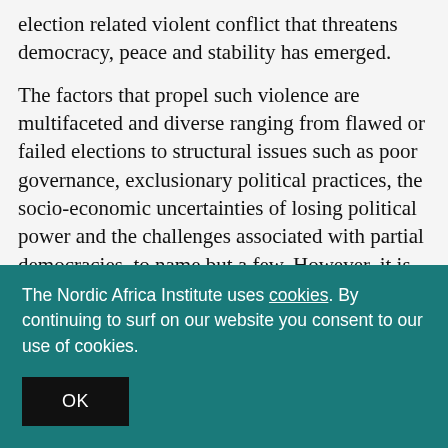election related violent conflict that threatens democracy, peace and stability has emerged.
The factors that propel such violence are multifaceted and diverse ranging from flawed or failed elections to structural issues such as poor governance, exclusionary political practices, the socio-economic uncertainties of losing political power and the challenges associated with partial democracies, to name but a few. However, it is the structural challenges that are often found outside
The Nordic Africa Institute uses cookies. By continuing to surf on our website you consent to our use of cookies.